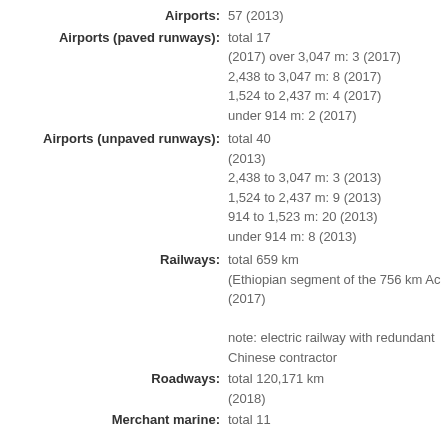Airports: 57 (2013)
Airports (paved runways): total 17 (2017) over 3,047 m: 3 (2017) 2,438 to 3,047 m: 8 (2017) 1,524 to 2,437 m: 4 (2017) under 914 m: 2 (2017)
Airports (unpaved runways): total 40 (2013) 2,438 to 3,047 m: 3 (2013) 1,524 to 2,437 m: 9 (2013) 914 to 1,523 m: 20 (2013) under 914 m: 8 (2013)
Railways: total 659 km (Ethiopian segment of the 756 km Addis Ababa-Djibouti Railroad) (2017) note: electric railway with redundant power supply built by Chinese contractor
Roadways: total 120,171 km (2018)
Merchant marine: total 11 by type: general cargo 9, oil tanker 2
Ports and terminals: Ethiopia is landlocked and uses the p
^Back to Top
Military